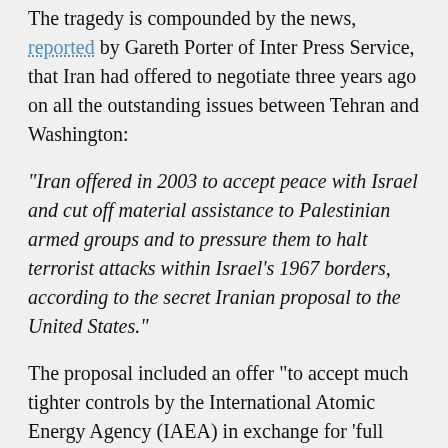The tragedy is compounded by the news, reported by Gareth Porter of Inter Press Service, that Iran had offered to negotiate three years ago on all the outstanding issues between Tehran and Washington:
"Iran offered in 2003 to accept peace with Israel and cut off material assistance to Palestinian armed groups and to pressure them to halt terrorist attacks within Israel’s 1967 borders, according to the secret Iranian proposal to the United States."
The proposal included an offer "to accept much tighter controls by the International Atomic Energy Agency (IAEA) in exchange for ‘full access to peaceful nuclear technology.’ It offered full cooperation with IAEA based on Iranian adoption of all relevant instruments (93+2 and all further IAEA protocols)."’ This means that any Iranian facility could be the